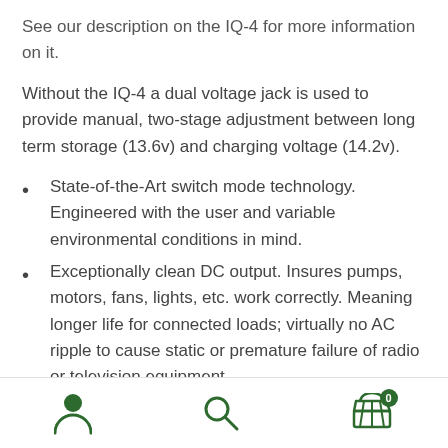See our description on the IQ-4 for more information on it.
Without the IQ-4 a dual voltage jack is used to provide manual, two-stage adjustment between long term storage (13.6v) and charging voltage (14.2v).
State-of-the-Art switch mode technology. Engineered with the user and variable environmental conditions in mind.
Exceptionally clean DC output. Insures pumps, motors, fans, lights, etc. work correctly. Meaning longer life for connected loads; virtually no AC ripple to cause static or premature failure of radio or television equipment.
Quickly and efficiently charges batteries. When used
User icon | Search icon | Cart (0)